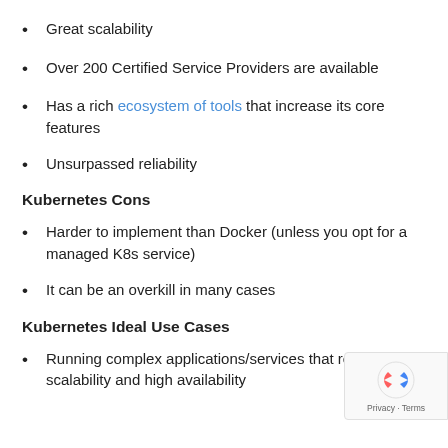Great scalability
Over 200 Certified Service Providers are available
Has a rich ecosystem of tools that increase its core features
Unsurpassed reliability
Kubernetes Cons
Harder to implement than Docker (unless you opt for a managed K8s service)
It can be an overkill in many cases
Kubernetes Ideal Use Cases
Running complex applications/services that require scalability and high availability